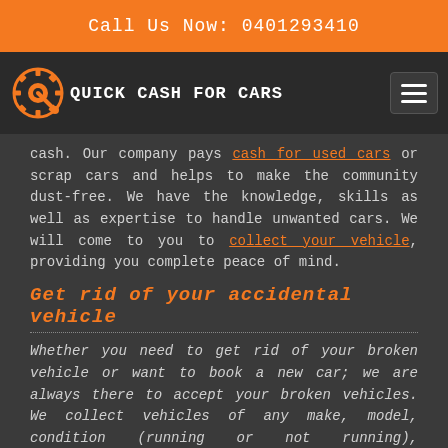Call Us Now: 0401293410
[Figure (logo): Quick Cash For Cars logo with gear icon and text, dark background, with hamburger menu button]
cash. Our company pays cash for used cars or scrap cars and helps to make the community dust-free. We have the knowledge, skills as well as expertise to handle unwanted cars. We will come to you to collect your vehicle, providing you complete peace of mind.
Get rid of your accidental vehicle
Whether you need to get rid of your broken vehicle or want to book a new car; we are always there to accept your broken vehicles. We collect vehicles of any make, model, condition (running or not running), registered/unregistered, we pay cash for your unwanted cars. Use our car removal company